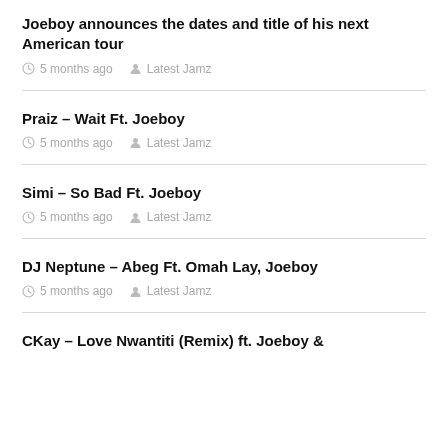Joeboy announces the dates and title of his next American tour
5 months ago   Latest Jamz
Praiz – Wait Ft. Joeboy
5 months ago   Latest Jamz
Simi – So Bad Ft. Joeboy
5 months ago   Latest Jamz
DJ Neptune – Abeg Ft. Omah Lay, Joeboy
5 months ago   Latest Jamz
CKay – Love Nwantiti (Remix) ft. Joeboy &